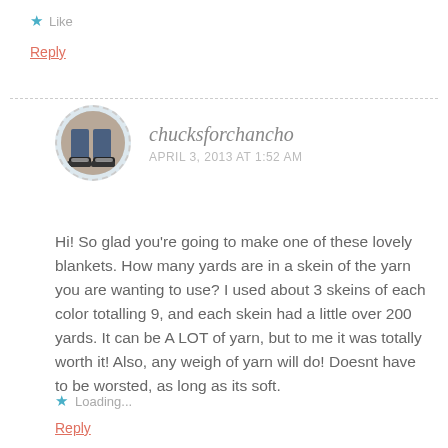★ Like
Reply
chucksforchancho
APRIL 3, 2013 AT 1:52 AM
[Figure (photo): Circular avatar photo showing legs wearing blue jeans and black sneakers on a wooden floor]
Hi! So glad you're going to make one of these lovely blankets. How many yards are in a skein of the yarn you are wanting to use? I used about 3 skeins of each color totalling 9, and each skein had a little over 200 yards. It can be A LOT of yarn, but to me it was totally worth it! Also, any weigh of yarn will do! Doesnt have to be worsted, as long as its soft.
★ Loading...
Reply